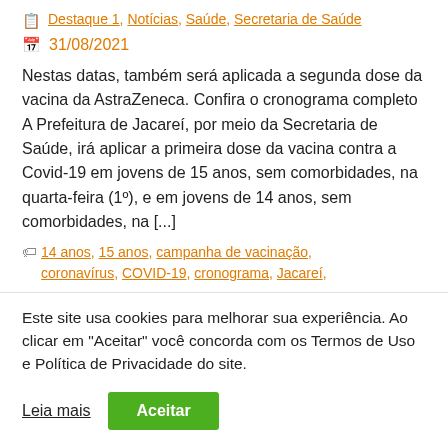Destaque 1, Notícias, Saúde, Secretaria de Saúde
31/08/2021
Nestas datas, também será aplicada a segunda dose da vacina da AstraZeneca. Confira o cronograma completo A Prefeitura de Jacareí, por meio da Secretaria de Saúde, irá aplicar a primeira dose da vacina contra a Covid-19 em jovens de 15 anos, sem comorbidades, na quarta-feira (1º), e em jovens de 14 anos, sem comorbidades, na [...]
14 anos, 15 anos, campanha de vacinação, coronavírus, COVID-19, cronograma, Jacareí,
Este site usa cookies para melhorar sua experiência. Ao clicar em "Aceitar" você concorda com os Termos de Uso e Política de Privacidade do site.
Leia mais
Aceitar